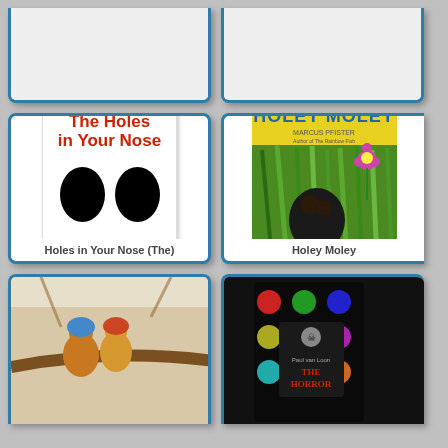[Figure (illustration): Top-left book card, partially cropped at top]
[Figure (illustration): Top-right book card, partially cropped at top]
[Figure (illustration): Book cover: The Holes in Your Nose by Genichiro Yagyu - white cover with red title text and two large black circles representing nostrils]
Holes in Your Nose (The)
[Figure (illustration): Book cover: Holey Moley by Marcus Pfister - yellow title text on cover showing a mole hiding in green grass with a pink flower]
Holey Moley
[Figure (illustration): Bottom-left book card partially cropped, showing illustrated animals (gnomes/mice) on a branch in a winter scene]
[Figure (illustration): Bottom-right book card partially cropped, showing The Horror book cover by Paul van Loon with monster faces]